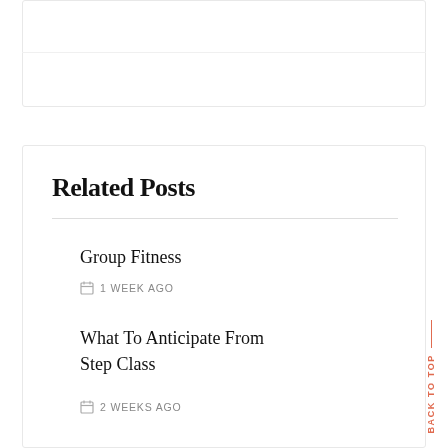Related Posts
Group Fitness
1 WEEK AGO
What To Anticipate From Step Class
2 WEEKS AGO
BACK TO TOP